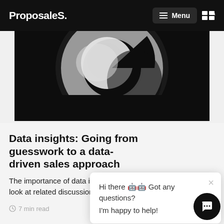ProposaleS. Menu
[Figure (photo): Black and white abstract circular/donut shape photograph on dark background]
Data insights: Going from guesswork to a data-driven sales approach
The importance of data in the hospitality in... closer look at related discussions revea...
7 min read   Mar 12, 2021
Hi there 👋 Got any questions? I'm happy to help!